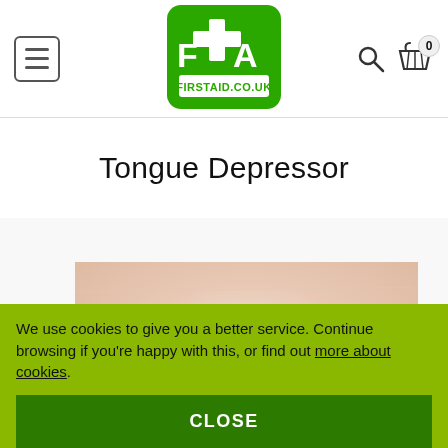[Figure (logo): FirstAid.co.uk logo — green rounded square with white F+A letters and a white cross, with FIRSTAID.CO.UK text below]
Tongue Depressor
[Figure (photo): Close-up photo of human lips/mouth, showing pink lips against skin-toned background]
We use cookies to give you a better service. Continue browsing if you're happy with this, or find out more about cookies.
CLOSE